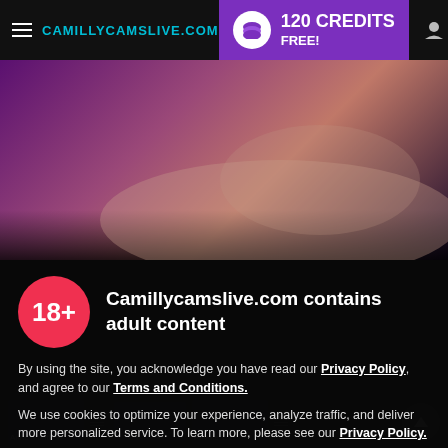CAMILLYCAMSLIVE.COM — 120 CREDITS FREE!
[Figure (screenshot): Hero background image showing a blurred bedroom scene with purple/warm tones]
Camillycamslive.com contains adult content
By using the site, you acknowledge you have read our Privacy Policy, and agree to our Terms and Conditions.
We use cookies to optimize your experience, analyze traffic, and deliver more personalized service. To learn more, please see our Privacy Policy.
I AGREE